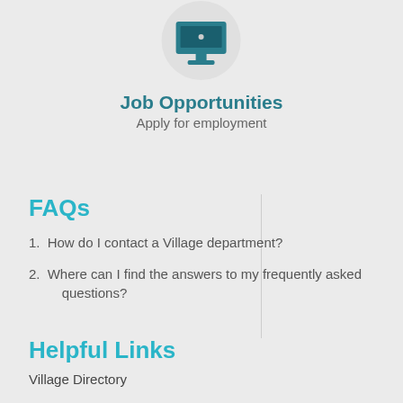[Figure (illustration): A circular icon showing a laptop/screen icon with teal colored monitor on a light gray circle background]
Job Opportunities
Apply for employment
FAQs
1. How do I contact a Village department?
2. Where can I find the answers to my frequently asked questions?
Helpful Links
Village Directory